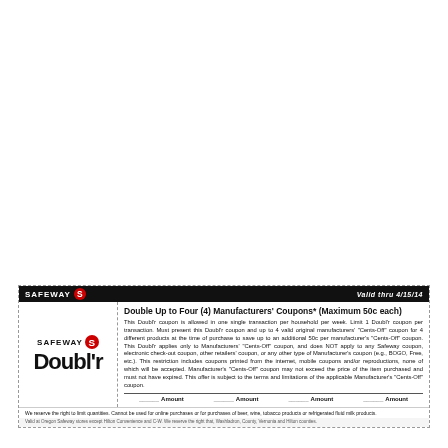SAFEWAY    Valid thru 4/15/14
[Figure (logo): Safeway Doubl'r coupon logo with Safeway S logo and bold Doubl'r text]
Double Up to Four (4) Manufacturers' Coupons* (Maximum 50c each)
This Doubl'r coupon is allowed in one single transaction per household per week. Limit 1 Doubl'r coupon per transaction. Must present this Doubl'r coupon and up to 4 valid original manufacturers' "Cents-Off" coupon for 4 different products at the time of purchase to save up to an additional 50c per manufacturer's "Cents-Off" coupon. This Doubl'r applies only to Manufacturers' "Cents-Off" coupon, and does NOT apply to any Safeway coupon, electronic check-out coupon, other retailers' coupon, or any other type of Manufacturer's coupon (e.g., BOGO, Free, etc.). This restriction includes coupons printed from the internet, mobile coupons and/or reproductions, none of which will be accepted. Manufacturer's "Cents-Off" coupon may not exceed the price of the item purchased and must not have expired. This offer is subject to the terms and limitations of the applicable Manufacturer's "Cents-Off" coupon.
______Amount   ______Amount   ______Amount   ______Amount
We reserve the right to limit quantities. Cannot be used for online purchases or for purchases of beer, wine, tobacco products or refrigerated fluid milk products.
Valid at Oregon Safeway stores except Hilton Convenience and C-W. We reserve the right that, Washladron, County, Vernonia and Hilton counties.